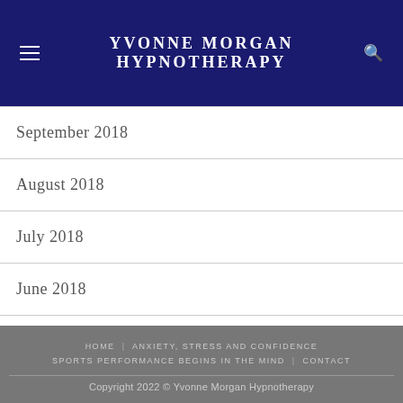YVONNE MORGAN HYPNOTHERAPY
September 2018
August 2018
July 2018
June 2018
May 2018
HOME  ANXIETY, STRESS AND CONFIDENCE  SPORTS PERFORMANCE BEGINS IN THE MIND  CONTACT
Copyright 2022 © Yvonne Morgan Hypnotherapy